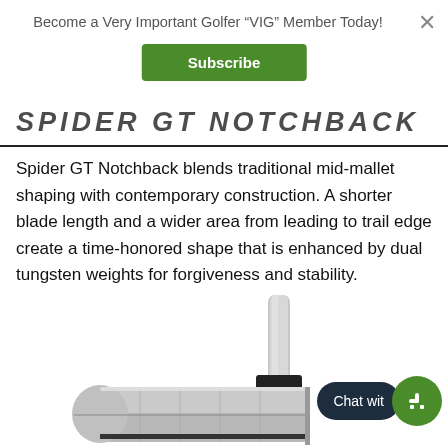Become a Very Important Golfer “VIG” Member Today!
Subscribe
SPIDER GT NOTCHBACK
Spider GT Notchback blends traditional mid-mallet shaping with contemporary construction. A shorter blade length and a wider area from leading to trail edge create a time-honored shape that is enhanced by dual tungsten weights for forgiveness and stability.
[Figure (photo): Close-up product photo of a silver Spider GT Notchback putter head with a black alignment aid, showing the top and face angle of the putter against a white background.]